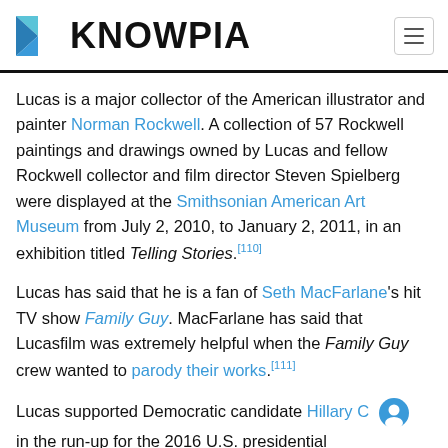KNOWPIA
Lucas is a major collector of the American illustrator and painter Norman Rockwell. A collection of 57 Rockwell paintings and drawings owned by Lucas and fellow Rockwell collector and film director Steven Spielberg were displayed at the Smithsonian American Art Museum from July 2, 2010, to January 2, 2011, in an exhibition titled Telling Stories.[110]
Lucas has said that he is a fan of Seth MacFarlane's hit TV show Family Guy. MacFarlane has said that Lucasfilm was extremely helpful when the Family Guy crew wanted to parody their works.[111]
Lucas supported Democratic candidate Hillary C in the run-up for the 2016 U.S. presidential election.[112]